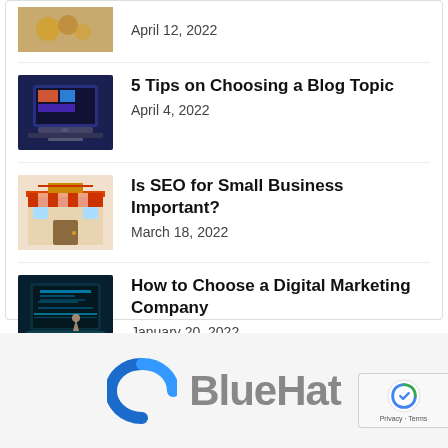[Figure (photo): Partial thumbnail image at top (coins/money), cropped]
April 12, 2022
[Figure (photo): Thumbnail of person typing on laptop with colorful screen]
5 Tips on Choosing a Blog Topic
April 4, 2022
[Figure (illustration): Thumbnail of cartoon storefront with red awning]
Is SEO for Small Business Important?
March 18, 2022
[Figure (photo): Thumbnail of digital marketing concept with laptop and glowing keyboard]
How to Choose a Digital Marketing Company
January 20, 2022
[Figure (logo): BlueHat logo with blue arc symbol and grey BlueHat text]